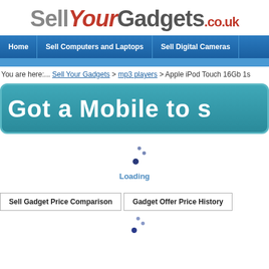[Figure (logo): SellYourGadgets.co.uk logo with stylized text]
Home | Sell Computers and Laptops | Sell Digital Cameras
You are here:... Sell Your Gadgets > mp3 players > Apple iPod Touch 16Gb 1s
[Figure (infographic): Got a Mobile to s... banner with teal gradient background]
[Figure (other): Loading spinner with dots]
Loading
Sell Gadget Price Comparison | Gadget Offer Price History
[Figure (other): Loading spinner with dots (second)]